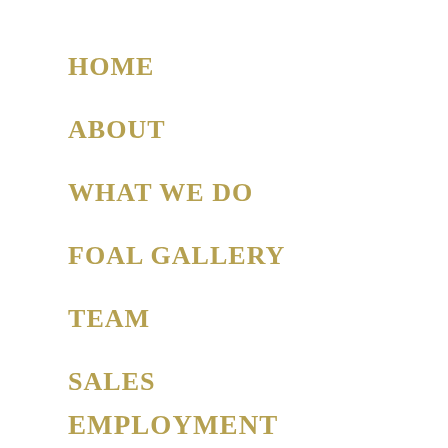HOME
ABOUT
WHAT WE DO
FOAL GALLERY
TEAM
SALES
EMPLOYMENT